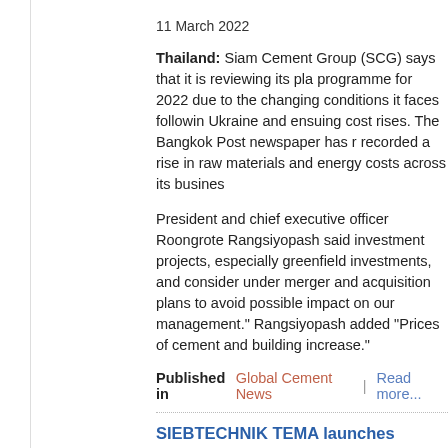11 March 2022
Thailand: Siam Cement Group (SCG) says that it is reviewing its plan programme for 2022 due to the changing conditions it faces following Ukraine and ensuing cost rises. The Bangkok Post newspaper has r recorded a rise in raw materials and energy costs across its busines
President and chief executive officer Roongrote Rangsiyopash said investment projects, especially greenfield investments, and consider under merger and acquisition plans to avoid possible impact on our management." Rangsiyopash added "Prices of cement and building increase."
Published in  Global Cement News  |  Read more...
SIEBTECHNIK TEMA launches Bulkinspector pycnom
11 March 2022
Germany: SIEBTECHNIK TEMA has launched its Bulkinspector aut pycnometer can help cement producers to obtain precise measurem densities. The interior of its insulated system housing is covered wit